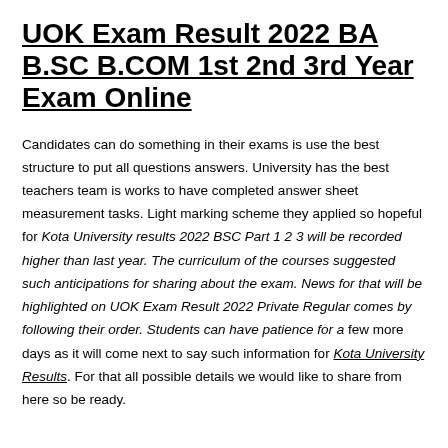UOK Exam Result 2022 BA B.SC B.COM 1st 2nd 3rd Year Exam Online
Candidates can do something in their exams is use the best structure to put all questions answers. University has the best teachers team is works to have completed answer sheet measurement tasks. Light marking scheme they applied so hopeful for Kota University results 2022 BSC Part 1 2 3 will be recorded higher than last year. The curriculum of the courses suggested such anticipations for sharing about the exam. News for that will be highlighted on UOK Exam Result 2022 Private Regular comes by following their order. Students can have patience for a few more days as it will come next to say such information for Kota University Results. For that all possible details we would like to share from here so be ready.